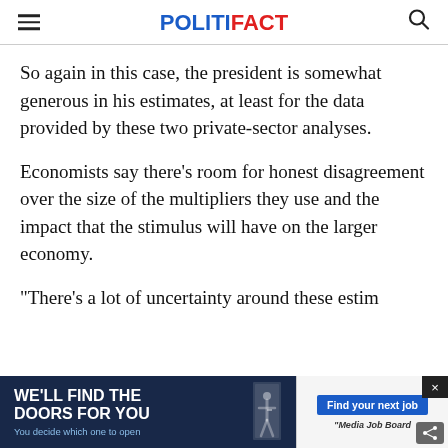POLITIFACT
So again in this case, the president is somewhat generous in his estimates, at least for the data provided by these two private-sector analyses.
Economists say there's room for honest disagreement over the size of the multipliers they use and the impact that the stimulus will have on the larger economy.
"There's a lot of uncertainty around these estim
[Figure (other): Advertisement banner: 'We'll Find The Doors For You - You decide which one to open' with Media Job Board logo and 'Find your next job' button]